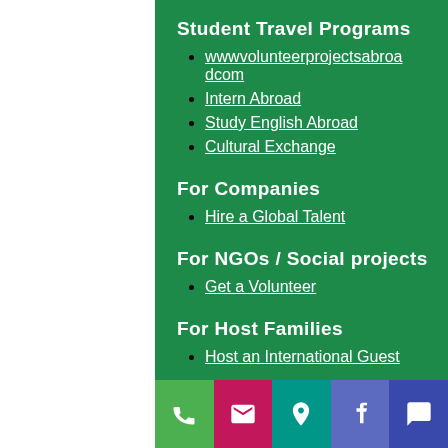Student Travel Programs
wwwvolunteerprojectsabroadcom
Intern Abroad
Study English Abroad
Cultural Exchange
For Companies
Hire a Global Talent
For NGOs / Social projects
Get a Volunteer
For Host Families
Host an International Guest